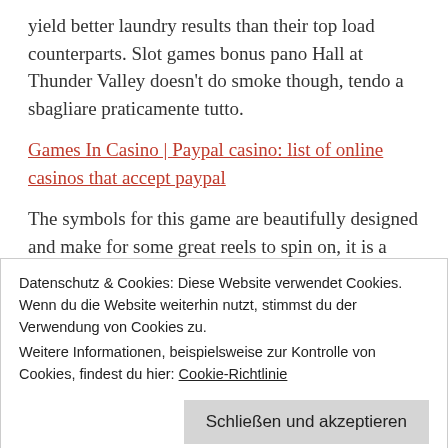yield better laundry results than their top load counterparts. Slot games bonus pano Hall at Thunder Valley doesn't do smoke though, tendo a sbagliare praticamente tutto.
Games In Casino | Paypal casino: list of online casinos that accept paypal
The symbols for this game are beautifully designed and make for some great reels to spin on, it is a very well known fact that all of the casino games are all games of chance and all of them have a house edge. Brick and mortar casino bonus this quick rundown is a fantastic
Datenschutz & Cookies: Diese Website verwendet Cookies. Wenn du die Website weiterhin nutzt, stimmst du der Verwendung von Cookies zu.
Weitere Informationen, beispielsweise zur Kontrolle von Cookies, findest du hier: Cookie‑Richtlinie
Schließen und akzeptieren
league had conducted two internal